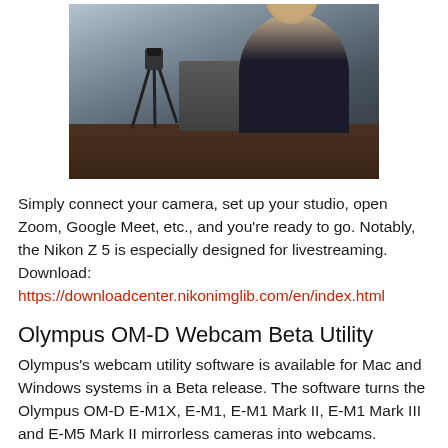[Figure (photo): A man sitting at a desk with a camera on a flexible tripod and a laptop, appearing to set up for streaming or video recording.]
Simply connect your camera, set up your studio, open Zoom, Google Meet, etc., and you're ready to go. Notably, the Nikon Z 5 is especially designed for livestreaming. Download:
https://downloadcenter.nikonimglib.com/en/index.html
Olympus OM-D Webcam Beta Utility
Olympus's webcam utility software is available for Mac and Windows systems in a Beta release. The software turns the Olympus OM-D E-M1X, E-M1, E-M1 Mark II, E-M1 Mark III and E-M5 Mark II mirrorless cameras into webcams.